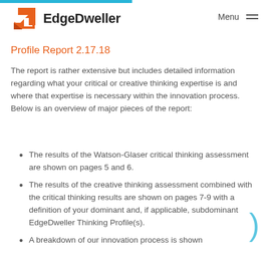EdgeDweller  Menu
Profile Report 2.17.18
The report is rather extensive but includes detailed information regarding what your critical or creative thinking expertise is and where that expertise is necessary within the innovation process. Below is an overview of major pieces of the report:
The results of the Watson-Glaser critical thinking assessment are shown on pages 5 and 6.
The results of the creative thinking assessment combined with the critical thinking results are shown on pages 7-9 with a definition of your dominant and, if applicable, subdominant EdgeDweller Thinking Profile(s).
A breakdown of our innovation process is shown